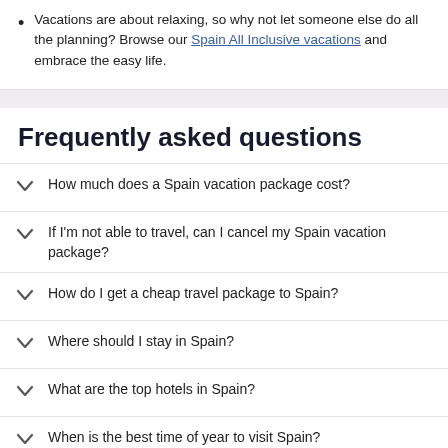Vacations are about relaxing, so why not let someone else do all the planning? Browse our Spain All Inclusive vacations and embrace the easy life.
Frequently asked questions
How much does a Spain vacation package cost?
If I'm not able to travel, can I cancel my Spain vacation package?
How do I get a cheap travel package to Spain?
Where should I stay in Spain?
What are the top hotels in Spain?
When is the best time of year to visit Spain?
How far in advance should I book my Spain vacation?